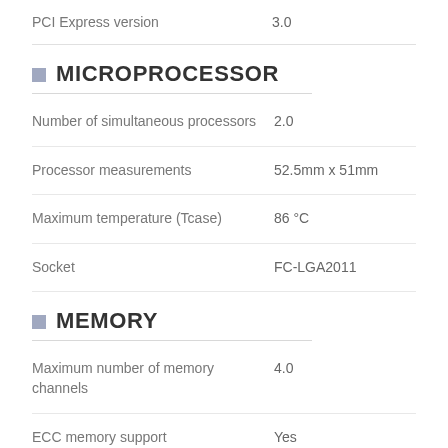| Property | Value |
| --- | --- |
| PCI Express version | 3.0 |
MICROPROCESSOR
| Property | Value |
| --- | --- |
| Number of simultaneous processors | 2.0 |
| Processor measurements | 52.5mm x 51mm |
| Maximum temperature (Tcase) | 86 °C |
| Socket | FC-LGA2011 |
MEMORY
| Property | Value |
| --- | --- |
| Maximum number of memory channels | 4.0 |
| ECC memory support | Yes |
| Physical address | 46 bit |